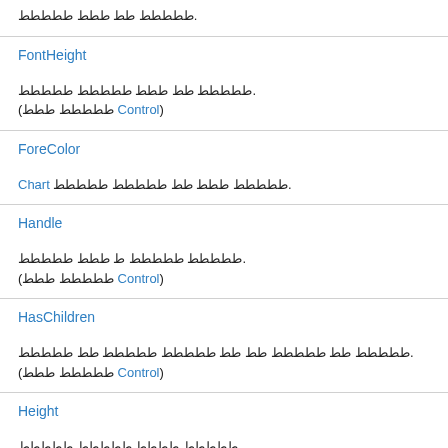ططططط طط ططط ططططط.
FontHeight
ططططط طط ططط ططططط ططططط.
(ططططط ططط Control)
ForeColor
Chart ططططط ططط طط ططططط ططططط.
Handle
ططططط ططططط ط ططط ططططط.
(ططططط ططط Control)
HasChildren
ططططط طط ططططط طط طط ططططط ططططط طط ططططط.
(ططططط ططط Control)
Height
ططططط طططط ططططط ططططط.
(ططططط ططط Control)